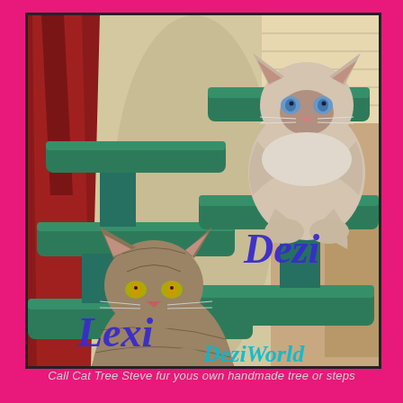[Figure (photo): Two cats sitting on a green carpeted cat tree/steps inside a home. The left cat is a tabby (Lexi) and the right cat is a long-haired Siamese or Ragdoll type (Dezi). Names 'Lexi' and 'Dezi' are written in blue italic script over the photo, along with the watermark 'DeziWorld' in teal italic script at the bottom right.]
Call Cat Tree Steve fur yous own handmade tree or steps